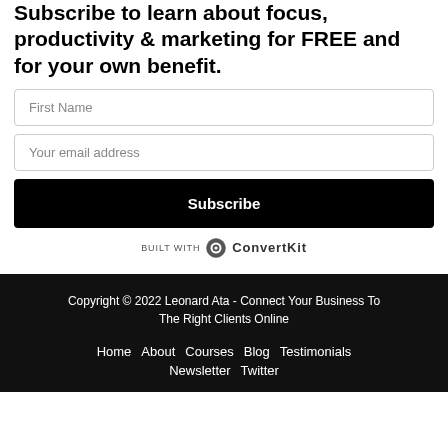Subscribe to learn about focus, productivity & marketing for FREE and for your own benefit.
First Name
Your email address
Subscribe
[Figure (logo): Built with ConvertKit logo]
Copyright © 2022 Leonard Ata - Connect Your Business To The Right Clients Online
Home   About   Courses   Blog   Testimonials
Newsletter   Twitter